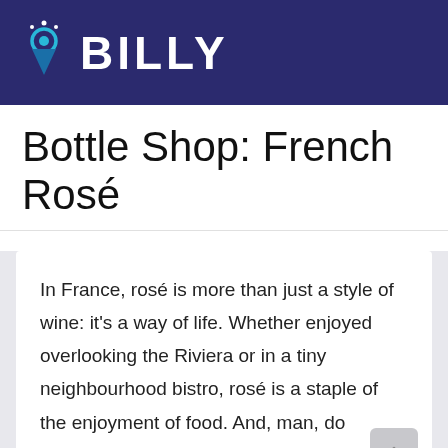BILLY
Bottle Shop: French Rosé
In France, rosé is more than just a style of wine: it's a way of life. Whether enjoyed overlooking the Riviera or in a tiny neighbourhood bistro, rosé is a staple of the enjoyment of food. And, man, do French